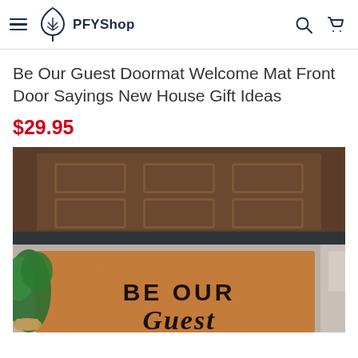PFYShop
Be Our Guest Doormat Welcome Mat Front Door Sayings New House Gift Ideas
$29.95
[Figure (photo): Photo of a brown coir doormat with the text 'BE OUR Guest' placed in front of a dark door, with green plants on the left side.]